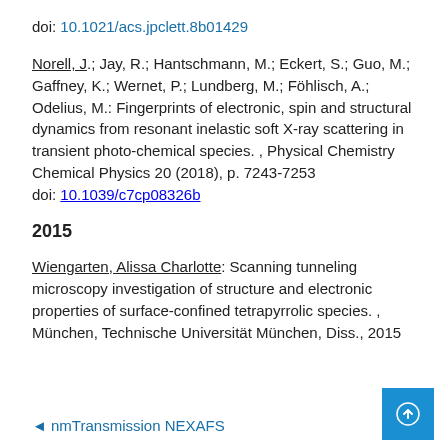doi: 10.1021/acs.jpclett.8b01429
Norell, J.; Jay, R.; Hantschmann, M.; Eckert, S.; Guo, M.; Gaffney, K.; Wernet, P.; Lundberg, M.; Föhlisch, A.; Odelius, M.: Fingerprints of electronic, spin and structural dynamics from resonant inelastic soft X-ray scattering in transient photo-chemical species. , Physical Chemistry Chemical Physics 20 (2018), p. 7243-7253
doi: 10.1039/c7cp08326b
2015
Wiengarten, Alissa Charlotte: Scanning tunneling microscopy investigation of structure and electronic properties of surface-confined tetrapyrrolic species. , München, Technische Universität München, Diss., 2015
◄ nmTransmission NEXAFS